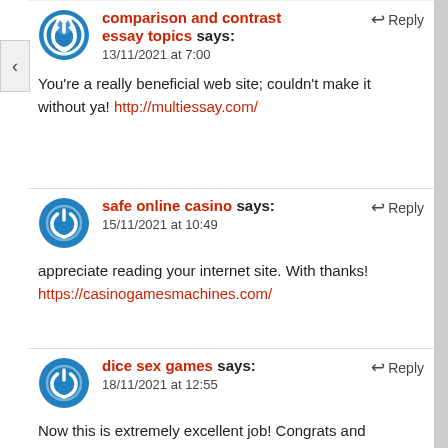comparison and contrast essay topics says: 13/11/2021 at 7:00
You're a really beneficial web site; couldn't make it without ya! http://multiessay.com/
safe online casino says: 15/11/2021 at 10:49
appreciate reading your internet site. With thanks! https://casinogamesmachines.com/
dice sex games says: 18/11/2021 at 12:55
Now this is extremely excellent job! Congrats and